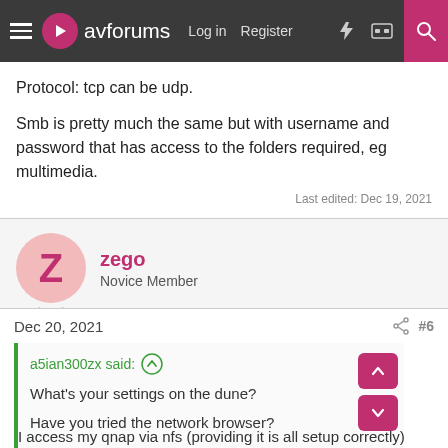avforums | Log in | Register
Protocol: tcp can be udp.
Smb is pretty much the same but with username and password that has access to the folders required, eg multimedia.
Last edited: Dec 19, 2021
zego
Novice Member
Dec 20, 2021  #6
a5ian300zx said:
What's your settings on the dune?
Have you tried the network browser?
I access my qnap via nfs (providing it is all setup correctly) which has read only access to my qnap.